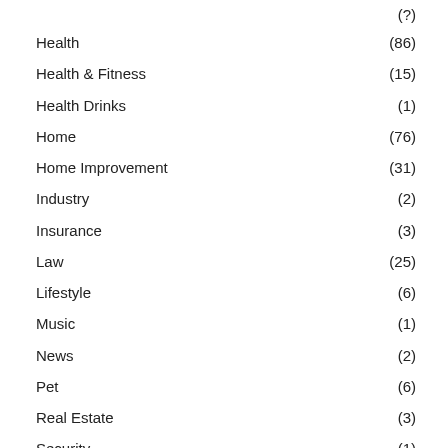(?)
Health (86)
Health & Fitness (15)
Health Drinks (1)
Home (76)
Home Improvement (31)
Industry (2)
Insurance (3)
Law (25)
Lifestyle (6)
Music (1)
News (2)
Pet (6)
Real Estate (3)
Security (1)
Shopping (14)